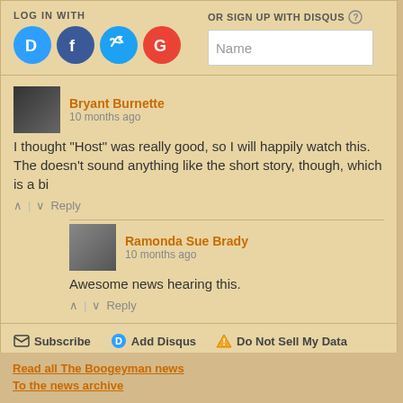LOG IN WITH
OR SIGN UP WITH DISQUS
Name
Bryant Burnette
10 months ago
I thought "Host" was really good, so I will happily watch this. The doesn't sound anything like the short story, though, which is a bi
^ | v  Reply
Ramonda Sue Brady
10 months ago
Awesome news hearing this.
^ | v  Reply
Subscribe  Add Disqus  Do Not Sell My Data
Read all The Boogeyman news
To the news archive